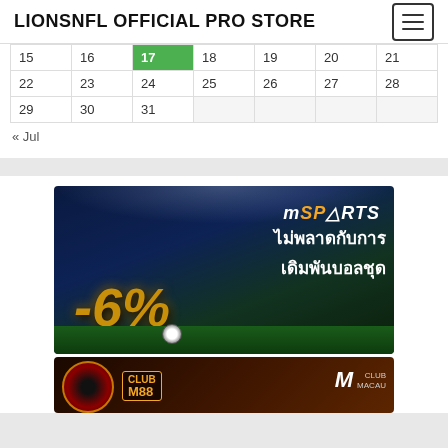LIONSNFL OFFICIAL PRO STORE
| 15 | 16 | 17 | 18 | 19 | 20 | 21 |
| 22 | 23 | 24 | 25 | 26 | 27 | 28 |
| 29 | 30 | 31 |  |  |  |  |
« Jul
[Figure (illustration): mSPORTS banner ad showing -6% promotion for football betting, Thai text ไม่พลาดกับการเดิมพันบอลชุด, gold 3D -6% text, stadium background]
[Figure (illustration): Club M88 / Club Macau casino banner ad with roulette wheel, dice, playing cards on dark golden background]